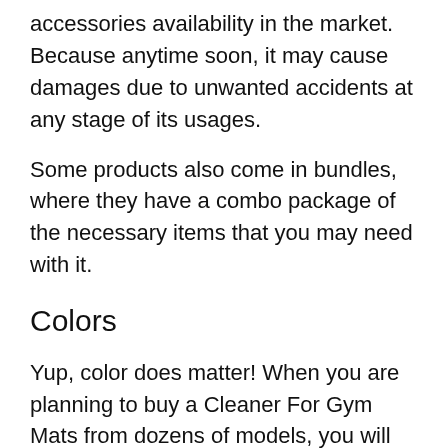accessories availability in the market. Because anytime soon, it may cause damages due to unwanted accidents at any stage of its usages.
Some products also come in bundles, where they have a combo package of the necessary items that you may need with it.
Colors
Yup, color does matter! When you are planning to buy a Cleaner For Gym Mats from dozens of models, you will definitely wish to get your desired color. As, color is the symbol of choice, aristocracy and represents your personal taste.
We have reviewed some of the best Cle...